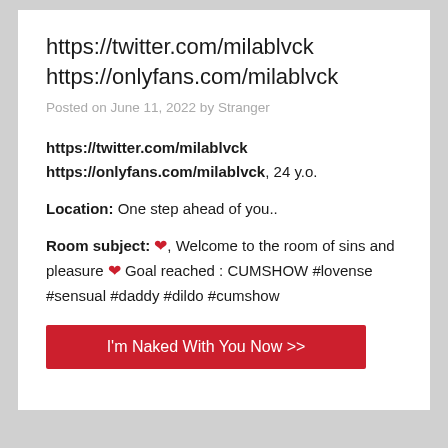https://twitter.com/milablvck
https://onlyfans.com/milablvck
Posted on June 11, 2022 by Stranger
https://twitter.com/milablvck
https://onlyfans.com/milablvck, 24 y.o.
Location: One step ahead of you..
Room subject: ❤, Welcome to the room of sins and pleasure ❤ Goal reached : CUMSHOW #lovense #sensual #daddy #dildo #cumshow
I'm Naked With You Now >>